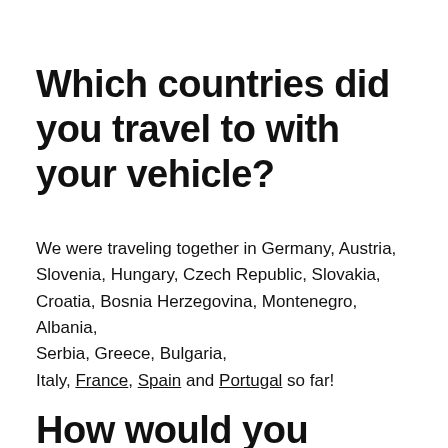Which countries did you travel to with your vehicle?
We were traveling together in Germany, Austria, Slovenia, Hungary, Czech Republic, Slovakia, Croatia, Bosnia Herzegovina, Montenegro, Albania, Serbia, Greece, Bulgaria, Italy, France, Spain and Portugal so far!
How would you describe